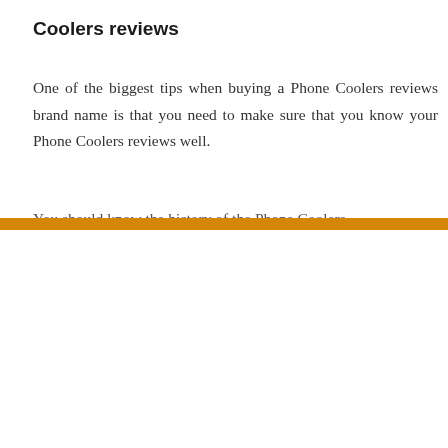Coolers reviews
One of the biggest tips when buying a Phone Coolers reviews brand name is that you need to make sure that you know your Phone Coolers reviews well.
You should know the history of the Phone Coolers
Shark FunCooler 2